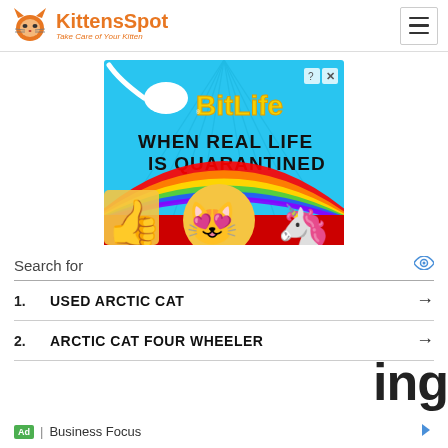KittensSpot - Take Care of Your Kitten
[Figure (illustration): BitLife advertisement banner. Colorful ad with text 'WHEN REAL LIFE IS QUARANTINED' on cyan background with emoji characters including a thumbs up, star-eyed face with mask, and unicorn. Yellow 'BitLife' logo at top.]
Search for
1. USED ARCTIC CAT →
2. ARCTIC CAT FOUR WHEELER →
Ad | Business Focus